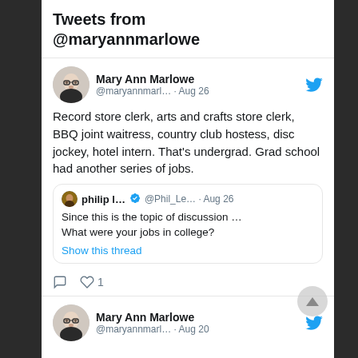Tweets from @maryannmarlowe
Mary Ann Marlowe @maryannmarl… · Aug 26
Record store clerk, arts and crafts store clerk, BBQ joint waitress, country club hostess, disc jockey, hotel intern. That's undergrad. Grad school had another series of jobs.
philip l… ✓ @Phil_Le… · Aug 26
Since this is the topic of discussion … What were your jobs in college?
Show this thread
Mary Ann Marlowe @maryannmarl… · Aug 20